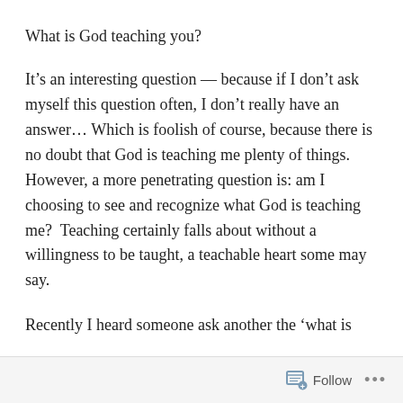What is God teaching you?
It’s an interesting question — because if I don’t ask myself this question often, I don’t really have an answer… Which is foolish of course, because there is no doubt that God is teaching me plenty of things. However, a more penetrating question is: am I choosing to see and recognize what God is teaching me?  Teaching certainly falls about without a willingness to be taught, a teachable heart some may say.
Recently I heard someone ask another the ‘what is
Follow ...